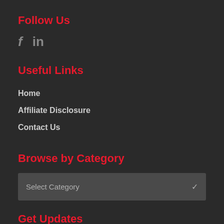Follow Us
[Figure (other): Social media icons: Facebook (f) and LinkedIn (in)]
Useful Links
Home
Affiliate Disclosure
Contact Us
Browse by Category
Select Category
Get Updates
Subscribe to our mailing list and get interesting stuff and updates